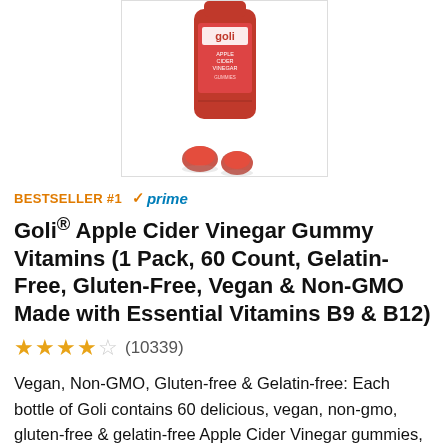[Figure (photo): Goli Apple Cider Vinegar Gummies product bottle (red) with gummy candies in front, partially cropped at top]
BESTSELLER #1  ✓prime
Goli® Apple Cider Vinegar Gummy Vitamins (1 Pack, 60 Count, Gelatin-Free, Gluten-Free, Vegan & Non-GMO Made with Essential Vitamins B9 & B12)
★★★½☆ (10339)
Vegan, Non-GMO, Gluten-free & Gelatin-free: Each bottle of Goli contains 60 delicious, vegan, non-gmo, gluten-free & gelatin-free Apple Cider Vinegar gummies, which makes them suitable for almost any lifestyle. Made in the USA with locally and globally sourced ingredients. Goli Gummies are made in